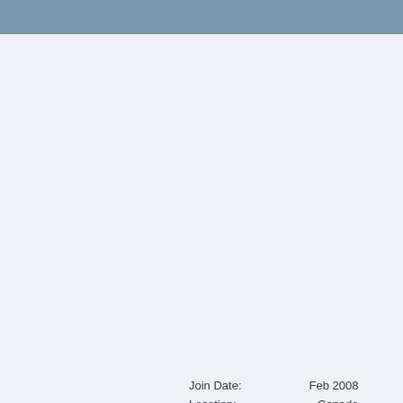#167
| Join Date: | Feb 2008 |
| Location: | Canada |
| Posts: | 14,592 |
| Credits: | 1,521 |
[Figure (photo): Partial view of a meme image with purple and grey tones showing text 'T-GIRL' at the bottom in bold white letters with black outline]